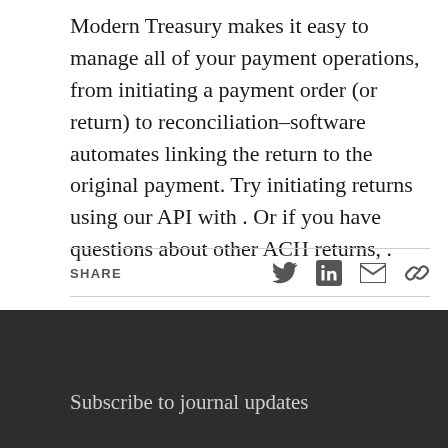Modern Treasury makes it easy to manage all of your payment operations, from initiating a payment order (or return) to reconciliation–software automates linking the return to the original payment. Try initiating returns using our API with . Or if you have questions about other ACH returns, .
[Figure (other): Share bar with Twitter, LinkedIn, email, and link icons]
Subscribe to journal updates